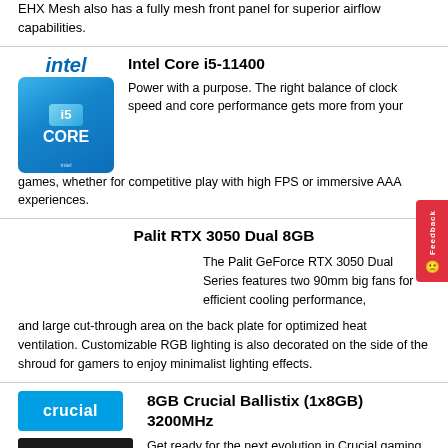EHX Mesh also has a fully mesh front panel for superior airflow capabilities.
Intel Core i5-11400
[Figure (photo): Intel Core i5 processor box with blue packaging showing intel and CORE branding]
Power with a purpose. The right balance of clock speed and core performance gets more from your games, whether for competitive play with high FPS or immersive AAA experiences.
Palit RTX 3050 Dual 8GB
The Palit GeForce RTX 3050 Dual Series features two 90mm big fans for efficient cooling performance, and large cut-through area on the back plate for optimized heat ventilation. Customizable RGB lighting is also decorated on the side of the shroud for gamers to enjoy minimalist lighting effects.
8GB Crucial Ballistix (1x8GB) 3200MHz
[Figure (photo): Crucial logo in blue box and Crucial Ballistix RAM stick in dark packaging]
Get ready for the next evolution in Crucial gaming memory. The Crucial